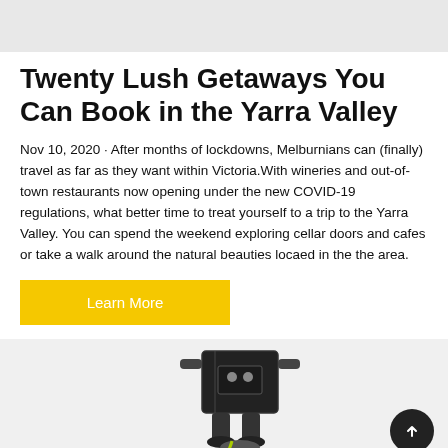[Figure (other): Gray header banner at top of page]
Twenty Lush Getaways You Can Book in the Yarra Valley
Nov 10, 2020 · After months of lockdowns, Melburnians can (finally) travel as far as they want within Victoria.With wineries and out-of-town restaurants now opening under the new COVID-19 regulations, what better time to treat yourself to a trip to the Yarra Valley. You can spend the weekend exploring cellar doors and cafes or take a walk around the natural beauties locaed in the the area.
[Figure (other): Yellow 'Learn More' button]
[Figure (photo): Gray background section with a delivery robot figure in center and a dark circular scroll-to-top button on the right]